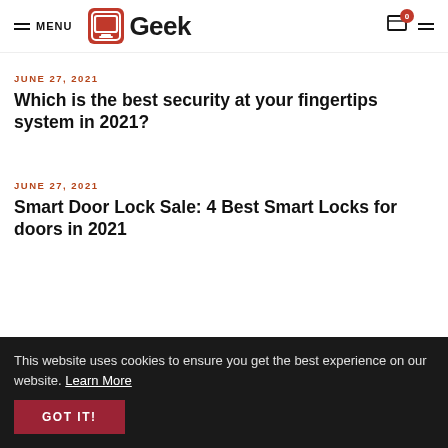MENU | Geek
JUNE 27, 2021
Which is the best security at your fingertips system in 2021?
JUNE 27, 2021
Smart Door Lock Sale: 4 Best Smart Locks for doors in 2021
This website uses cookies to ensure you get the best experience on our website. Learn More GOT IT!